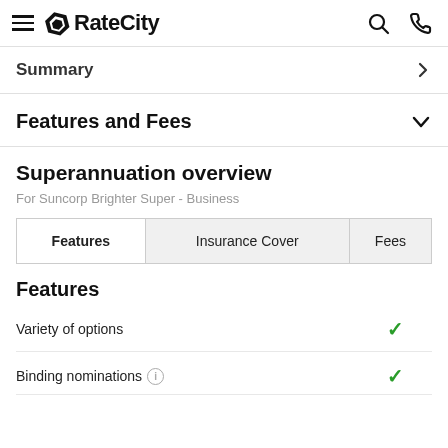RateCity
Summary
Features and Fees
Superannuation overview
For Suncorp Brighter Super - Business
| Features | Insurance Cover | Fees |
| --- | --- | --- |
Features
Variety of options ✓
Binding nominations ✓